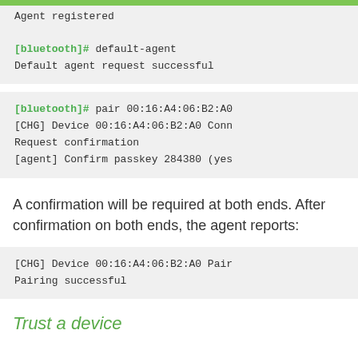Agent registered
[bluetooth]# default-agent
Default agent request successful
[bluetooth]# pair 00:16:A4:06:B2:A0
[CHG] Device 00:16:A4:06:B2:A0 Conn
Request confirmation
[agent] Confirm passkey 284380 (yes
A confirmation will be required at both ends. After confirmation on both ends, the agent reports:
[CHG] Device 00:16:A4:06:B2:A0 Pair
Pairing successful
Trust a device